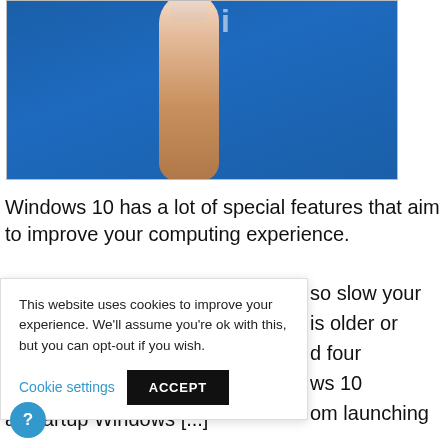[Figure (photo): A close-up photo of a finger touching or pointing at a blue surface, cropped at top with partial text 'Wi...' visible]
Windows 10 has a lot of special features that aim to improve your computing experience.
This website uses cookies to improve your experience. We'll assume you're ok with this, but you can opt-out if you wish.
Cookie settings   ACCEPT
so slow your is older or d four ws 10 om launching at startup Windows [...]